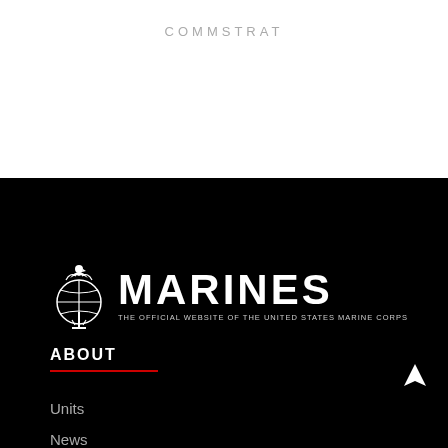COMMSTRAT
[Figure (logo): United States Marine Corps Eagle Globe and Anchor emblem alongside MARINES wordmark and subtitle 'THE OFFICIAL WEBSITE OF THE UNITED STATES MARINE CORPS']
ABOUT
Units
News
Photos
Leaders